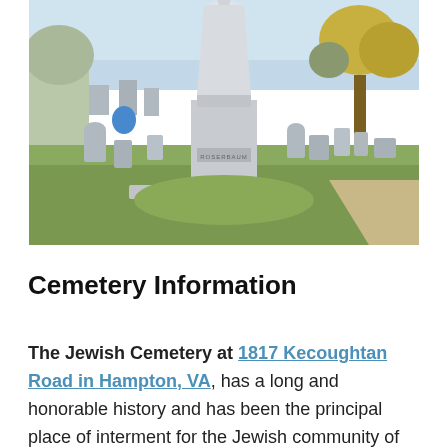[Figure (photo): Photograph of a Jewish cemetery showing a tall white obelisk monument labeled 'ROSERBAUM' in the center, surrounded by various gravestones and grave markers on a grassy lawn, with bare trees and evergreen trees in the background under a clear winter sky.]
Cemetery Information
The Jewish Cemetery at 1817 Kecoughtan Road in Hampton, VA, has a long and honorable history and has been the principal place of interment for the Jewish community of the Virginia